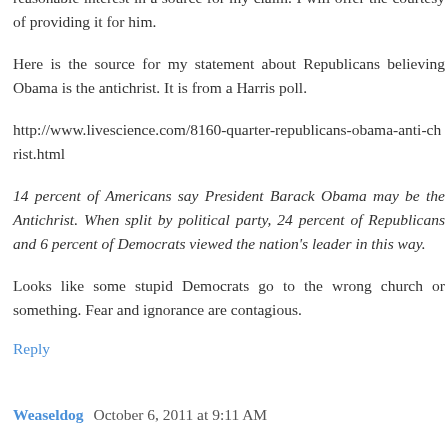This will be my final response to an anonymous comment in this thread. Why? This one gets a second response because he posed a reasonable interest in a source for my claim. I will offer the courtesy of providing it for him.
Here is the source for my statement about Republicans believing Obama is the antichrist. It is from a Harris poll.
http://www.livescience.com/8160-quarter-republicans-obama-anti-christ.html
14 percent of Americans say President Barack Obama may be the Antichrist. When split by political party, 24 percent of Republicans and 6 percent of Democrats viewed the nation's leader in this way.
Looks like some stupid Democrats go to the wrong church or something. Fear and ignorance are contagious.
Reply
Weaseldog   October 6, 2011 at 9:11 AM